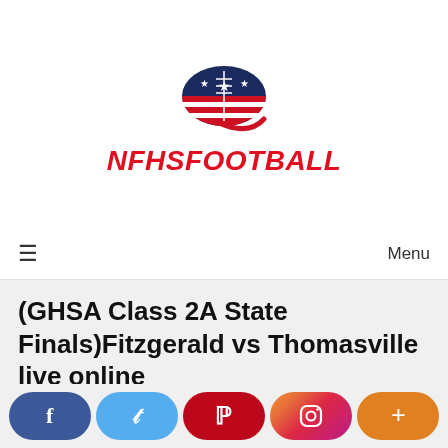[Figure (logo): NFHS Football logo: football shape with dark navy top half with stars and red/white stripes on lower half, with red italic bold text NFHSFOOTBALL below]
[Figure (infographic): Navigation bar with hamburger menu icon on left and Menu text on right]
(GHSA Class 2A State Finals)Fitzgerald vs Thomasville live online
[Figure (infographic): Social share buttons row: Facebook (dark blue), Twitter (light blue), Pinterest (red), Instagram (gradient), plus/more (orange)]